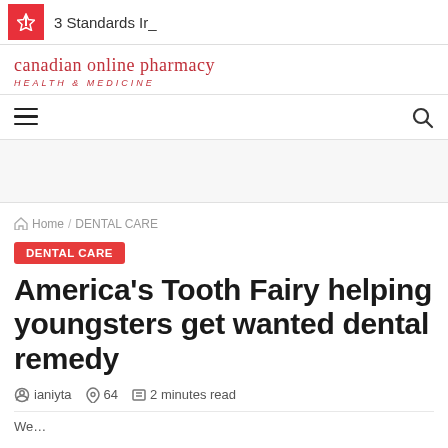3 Standards Ir_
[Figure (logo): Canadian Online Pharmacy — Health & Medicine logo in red serif font]
☰ (hamburger menu) and search icon navigation bar
Home / DENTAL CARE (breadcrumb)
DENTAL CARE
America's Tooth Fairy helping youngsters get wanted dental remedy
ianiyta  64  2 minutes read